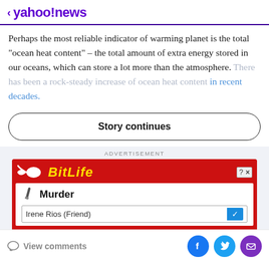< yahoo!news
Perhaps the most reliable indicator of warming planet is the total “ocean heat content” – the total amount of extra energy stored in our oceans, which can store a lot more than the atmosphere. There has been a rock-steady increase of ocean heat content in recent decades.
Story continues
ADVERTISEMENT
[Figure (screenshot): BitLife app advertisement showing a game screen with 'Murder' action and a dropdown for 'Irene Rios (Friend)']
View comments